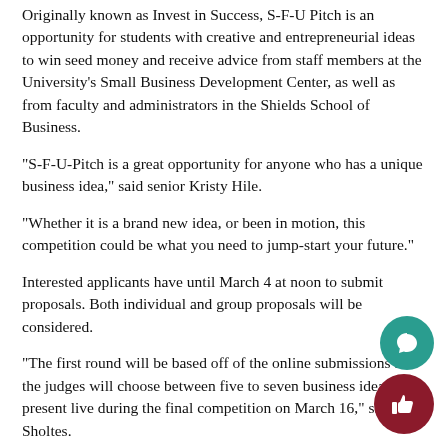Originally known as Invest in Success, S-F-U Pitch is an opportunity for students with creative and entrepreneurial ideas to win seed money and receive advice from staff members at the University's Small Business Development Center, as well as from faculty and administrators in the Shields School of Business.
“S-F-U-Pitch is a great opportunity for anyone who has a unique business idea,” said senior Kristy Hile.
“Whether it is a brand new idea, or been in motion, this competition could be what you need to jump-start your future.”
Interested applicants have until March 4 at noon to submit proposals. Both individual and group proposals will be considered.
“The first round will be based off of the online submissions and the judges will choose between five to seven business ideas to present live during the final competition on March 16,” said Sholtes.
“The live final competition will be judged by different business experts. The final round judges will not only decide who wins, but they will also serve as mentors to participants to help kick-start their ideas.”